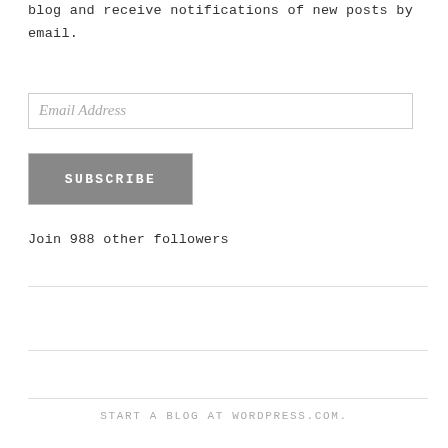blog and receive notifications of new posts by email.
Email Address
SUBSCRIBE
Join 988 other followers
START A BLOG AT WORDPRESS.COM.